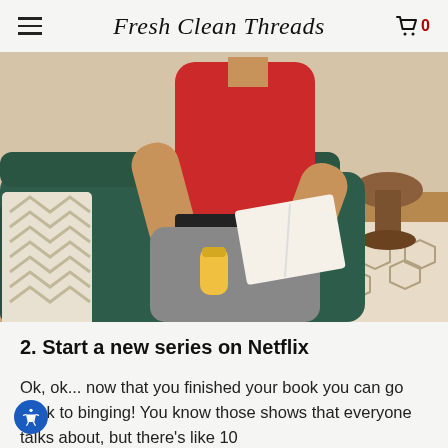Fresh Clean Threads
[Figure (photo): A man in a red t-shirt sitting on a dark green armchair, holding an open book in one hand and a beverage can in the other, with a patterned rug and side table visible in the background.]
2. Start a new series on Netflix
Ok, ok... now that you finished your book you can go back to binging! You know those shows that everyone talks about, but there's like 10...